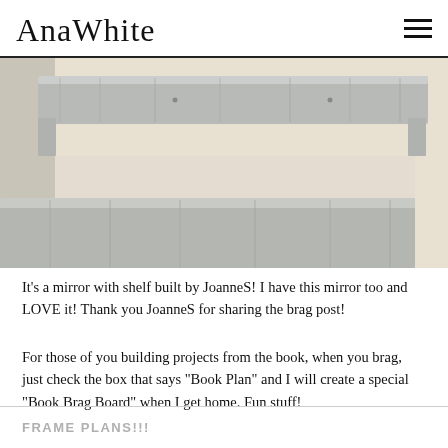AnaWhite
[Figure (photo): A wooden shelf with whitewash/gray finish mounted on a wall, with part of a dresser or cabinet visible below. The shelf appears to be a mirror with shelf unit.]
It's a mirror with shelf built by JoanneS!  I have this mirror too and LOVE it!  Thank you JoanneS for sharing the brag post!
For those of you building projects from the book, when you brag, just check the box that says "Book Plan" and I will create a special "Book Brag Board" when I get home.  Fun stuff!
FRAME PLANS!!!